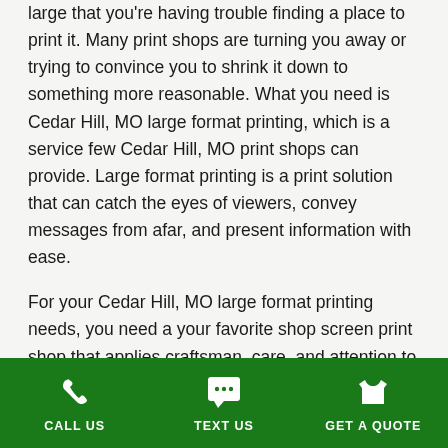large that you're having trouble finding a place to print it. Many print shops are turning you away or trying to convince you to shrink it down to something more reasonable. What you need is Cedar Hill, MO large format printing, which is a service few Cedar Hill, MO print shops can provide. Large format printing is a print solution that can catch the eyes of viewers, convey messages from afar, and present information with ease.
For your Cedar Hill, MO large format printing needs, you need a your favorite shop screen print shop that applies craftsman, care, and attention to detail to every job: STL Shirt Co. We have established ourselves as one of the top screen printing shops in the Cedar Hill, MO area and have been trusted by countless famlies and businesses to
CALL US   TEXT US   GET A QUOTE